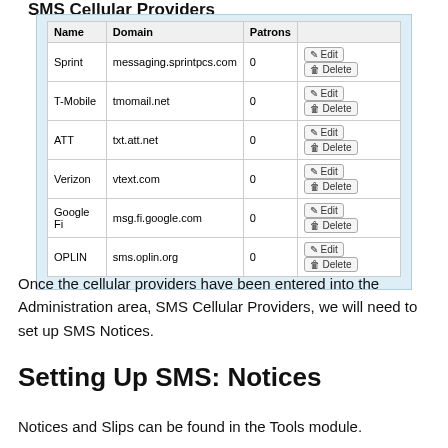| Name | Domain | Patrons |  |
| --- | --- | --- | --- |
| Sprint | messaging.sprintpcs.com | 0 | Edit | Delete |
| T-Mobile | tmomail.net | 0 | Edit | Delete |
| ATT | txt.att.net | 0 | Edit | Delete |
| Verizon | vtext.com | 0 | Edit | Delete |
| Google Fi | msg.fi.google.com | 0 | Edit | Delete |
| OPLIN | sms.oplin.org | 0 | Edit | Delete |
Once the cellular providers have been entered into the Administration area, SMS Cellular Providers, we will need to set up SMS Notices.
Setting Up SMS: Notices
Notices and Slips can be found in the Tools module.